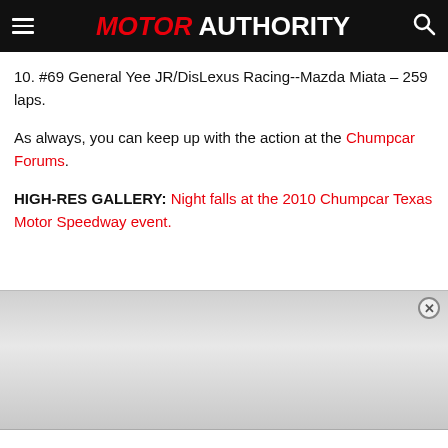MOTOR AUTHORITY
10. #69 General Yee JR/DisLexus Racing--Mazda Miata – 259 laps.
As always, you can keep up with the action at the Chumpcar Forums.
HIGH-RES GALLERY: Night falls at the 2010 Chumpcar Texas Motor Speedway event.
[Figure (other): Advertisement banner with close button, light grey gradient background]